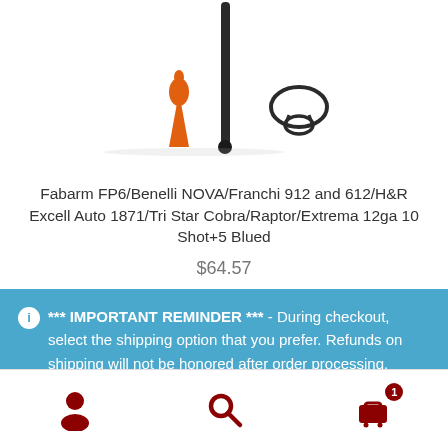[Figure (photo): Product photo showing firearm accessory parts: an orange cap/plug, a black tube/rod, and a black sling swivel on a white background]
Fabarm FP6/Benelli NOVA/Franchi 912 and 612/H&R Excell Auto 1871/Tri Star Cobra/Raptor/Extrema 12ga 10 Shot+5 Blued
$64.57
*** IMPORTANT REMINDER *** - During checkout, select the shipping option that you prefer. Refunds on shipping will not be honored after order processing. Dismiss